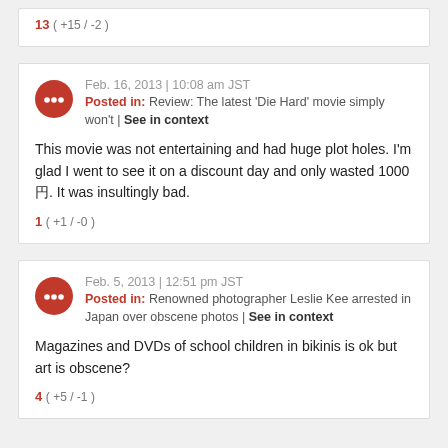13 ( +15 / -2 )
Feb. 16, 2013 | 10:08 am JST
Posted in: Review: The latest 'Die Hard' movie simply won't | See in context
This movie was not entertaining and had huge plot holes. I'm glad I went to see it on a discount day and only wasted 1000円. It was insultingly bad.
1 ( +1 / -0 )
Feb. 5, 2013 | 12:51 pm JST
Posted in: Renowned photographer Leslie Kee arrested in Japan over obscene photos | See in context
Magazines and DVDs of school children in bikinis is ok but art is obscene?
4 ( +5 / -1 )